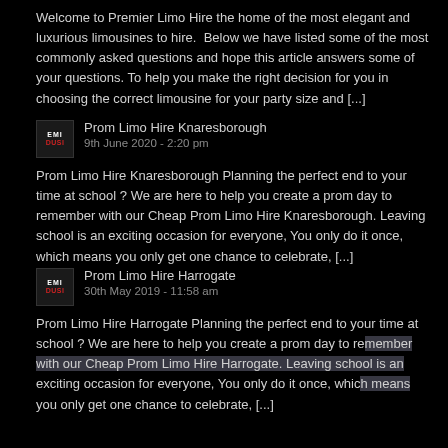Welcome to Premier Limo Hire the home of the most elegant and luxurious limousines to hire.  Below we have listed some of the most commonly asked questions and hope this article answers some of your questions. To help you make the right decision for you in choosing the correct limousine for your party size and [...]
Prom Limo Hire Knaresborough
9th June 2020 - 2:20 pm
Prom Limo Hire Knaresborough Planning the perfect end to your time at school ? We are here to help you create a prom day to remember with our Cheap Prom Limo Hire Knaresborough. Leaving school is an exciting occasion for everyone, You only do it once, which means you only get one chance to celebrate, [...]
Prom Limo Hire Harrogate
30th May 2019 - 11:58 am
Prom Limo Hire Harrogate Planning the perfect end to your time at school ? We are here to help you create a prom day to remember with our Cheap Prom Limo Hire Harrogate. Leaving school is an exciting occasion for everyone, You only do it once, which means you only get one chance to celebrate, [...]